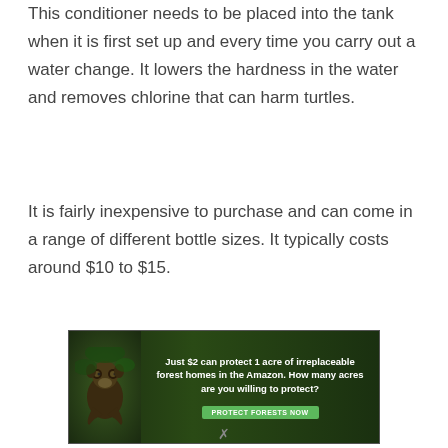This conditioner needs to be placed into the tank when it is first set up and every time you carry out a water change. It lowers the hardness in the water and removes chlorine that can harm turtles.
It is fairly inexpensive to purchase and can come in a range of different bottle sizes. It typically costs around $10 to $15.
[Figure (infographic): Advertisement banner with dark forest/Amazon background showing an animal (orangutan/monkey). Text reads: 'Just $2 can protect 1 acre of irreplaceable forest homes in the Amazon. How many acres are you willing to protect?' with a green 'PROTECT FORESTS NOW' button.]